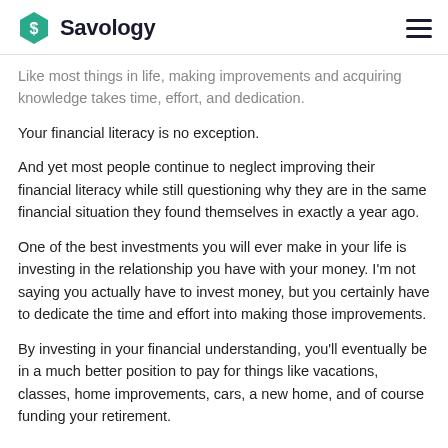Savology
Like most things in life, making improvements and acquiring knowledge takes time, effort, and dedication.
Your financial literacy is no exception.
And yet most people continue to neglect improving their financial literacy while still questioning why they are in the same financial situation they found themselves in exactly a year ago.
One of the best investments you will ever make in your life is investing in the relationship you have with your money. I'm not saying you actually have to invest money, but you certainly have to dedicate the time and effort into making those improvements.
By investing in your financial understanding, you'll eventually be in a much better position to pay for things like vacations, classes, home improvements, cars, a new home, and of course funding your retirement.